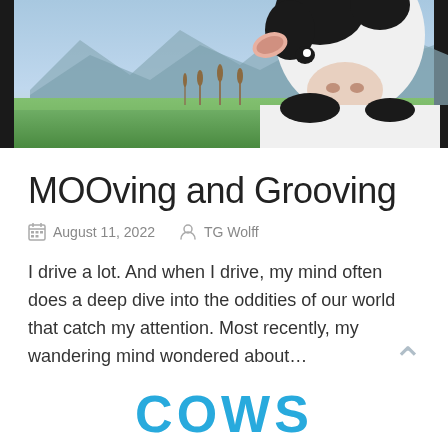[Figure (photo): A black and white Holstein cow looking at the camera from the upper right, standing in a green meadow field with mountains and blue sky in the background.]
MOOving and Grooving
August 11, 2022   TG Wolff
I drive a lot. And when I drive, my mind often does a deep dive into the oddities of our world that catch my attention. Most recently, my wandering mind wondered about…
COWS